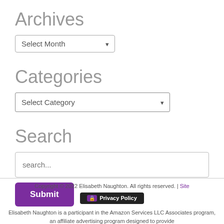Archives
Select Month
Categories
Select Category
Search
search...
Submit
Copyright © 2022 Elisabeth Naughton. All rights reserved. | Site
🔒 Privacy Policy
Elisabeth Naughton is a participant in the Amazon Services LLC Associates program, an affiliate advertising program designed to provide